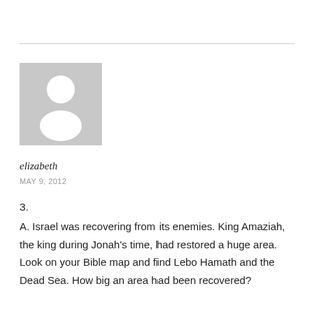[Figure (illustration): Generic user avatar placeholder image — grey square with white silhouette of a person (head and shoulders)]
elizabeth
MAY 9, 2012
3.
A. Israel was recovering from its enemies. King Amaziah, the king during Jonah's time, had restored a huge area. Look on your Bible map and find Lebo Hamath and the Dead Sea. How big an area had been recovered?